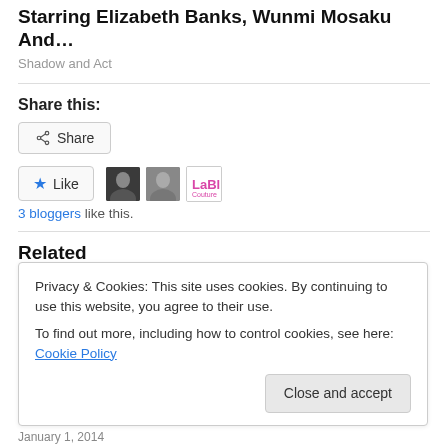Starring Elizabeth Banks, Wunmi Mosaku And…
Shadow and Act
Share this:
Share
Like
3 bloggers like this.
Related
Privacy & Cookies: This site uses cookies. By continuing to use this website, you agree to their use.
To find out more, including how to control cookies, see here: Cookie Policy
Close and accept
January 1, 2014